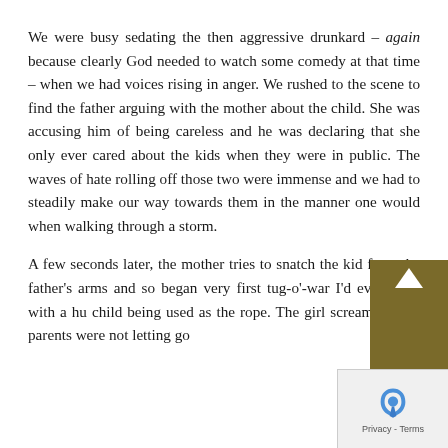We were busy sedating the then aggressive drunkard – again because clearly God needed to watch some comedy at that time – when we had voices rising in anger. We rushed to the scene to find the father arguing with the mother about the child. She was accusing him of being careless and he was declaring that she only ever cared about the kids when they were in public. The waves of hate rolling off those two were immense and we had to steadily make our way towards them in the manner one would when walking through a storm.
A few seconds later, the mother tries to snatch the kid from the father's arms and so began very first tug-o'-war I'd ever seen, with a hu child being used as the rope. The girl screaming, the parents were not letting go